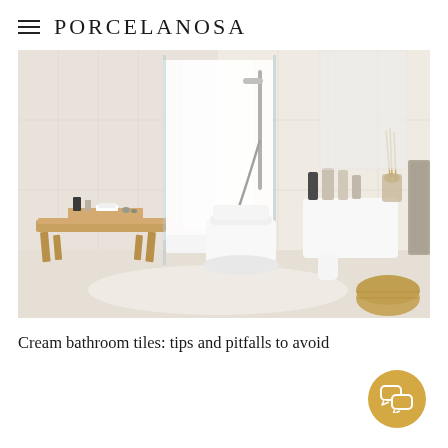≡ PORCELANOSA
[Figure (photo): A bright, minimalist cream/white bathroom featuring a wooden bench with toiletries and towels, a glass shower enclosure with wall-mounted shower, a modern back-to-wall toilet, and a pedestal basin with various bottles and accessories. A grey textured towel hangs on the right and a wicker basket sits on the floor.]
Cream bathroom tiles: tips and pitfalls to avoid